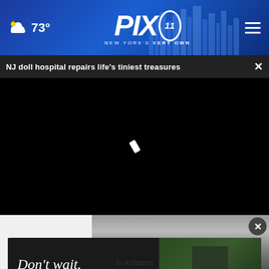73° PIX11 NEW YORK'S VERY OWN
NJ doll hospital repairs life's tiniest treasures
[Figure (screenshot): Black video player area with a loading indicator (white rotated rectangle) in the center, on a black background]
[Figure (photo): Partial view of a person wearing a dark turtleneck sweater, shown from shoulders up against a gray background, with an X close button overlay]
[Figure (photo): Advertisement banner with text 'Don't wait.' in italic white serif font on dark background, alongside a photo of a person in dark clothing seated in a chair]
in Ashburn